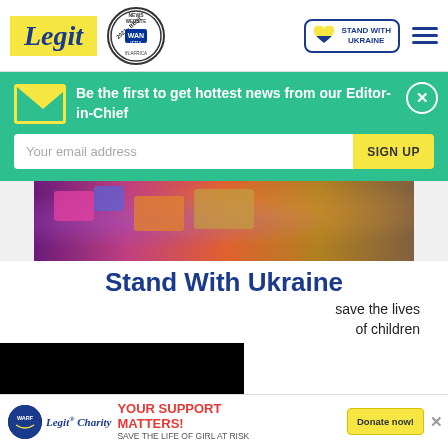Legit — WAN IFRA Best News Website in Africa 2021 — Stand With Ukraine
Be the first to get hottest news from our Editor-in-Chief
Your email address | SIGN UP
[Figure (photo): Photo showing people lying on the ground with colorful clothing and stuffed animals]
Stand With Ukraine
save the lives of children
[Figure (screenshot): Video player overlay with loading spinner on black background]
YOUR SUPPORT MATTERS! SAVE THE LIFE OF GIRL AT RISK — Donate now!